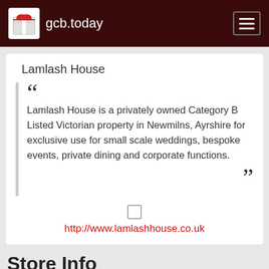gcb.today
Lamlash House
Lamlash House is a privately owned Category B Listed Victorian property in Newmilns, Ayrshire for exclusive use for small scale weddings, bespoke events, private dining and corporate functions.
http://www.lamlashhouse.co.uk
Store Info
Website, contact number and gift card information for Lamlash